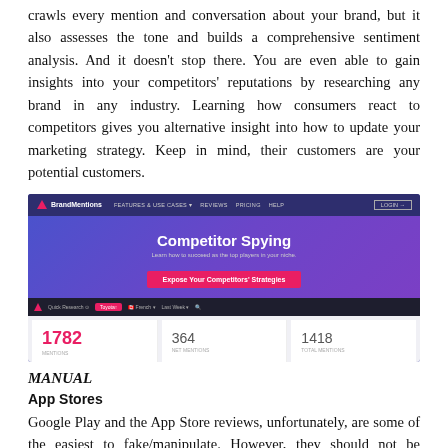crawls every mention and conversation about your brand, but it also assesses the tone and builds a comprehensive sentiment analysis. And it doesn't stop there. You are even able to gain insights into your competitors' reputations by researching any brand in any industry. Learning how consumers react to competitors gives you alternative insight into how to update your marketing strategy. Keep in mind, their customers are your potential customers.
[Figure (screenshot): BrandMentions website screenshot showing 'Competitor Spying' hero section with 'Expose Your Competitors' Strategies' button, and a dashboard showing metrics: 1782 Mentions, 364 Net Mentions, 1418 Total Mentions]
MANUAL
App Stores
Google Play and the App Store reviews, unfortunately, are some of the easiest to fake/manipulate. However, they should not be ignored. Most of your mobile users will